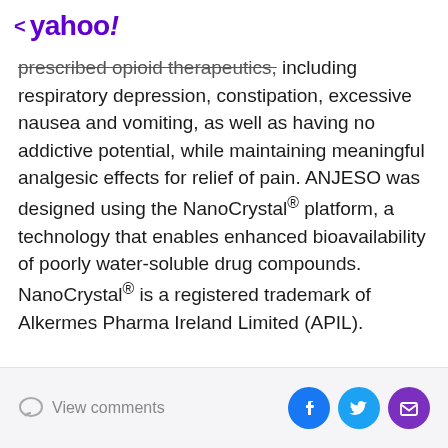< yahoo!
prescribed opioid therapeutics, including respiratory depression, constipation, excessive nausea and vomiting, as well as having no addictive potential, while maintaining meaningful analgesic effects for relief of pain. ANJESO was designed using the NanoCrystal® platform, a technology that enables enhanced bioavailability of poorly water-soluble drug compounds. NanoCrystal® is a registered trademark of Alkermes Pharma Ireland Limited (APIL).
View comments